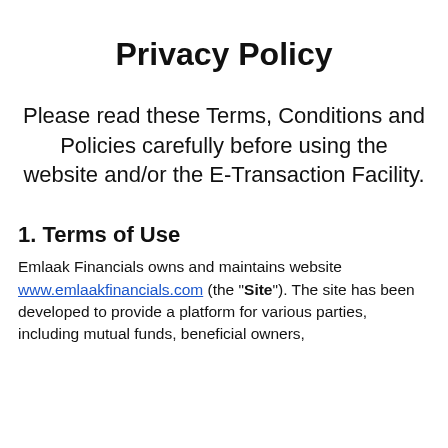Privacy Policy
Please read these Terms, Conditions and Policies carefully before using the website and/or the E-Transaction Facility.
1. Terms of Use
Emlaak Financials owns and maintains website www.emlaakfinancials.com (the "Site"). The site has been developed to provide a platform for various parties, including mutual funds, beneficial owners,